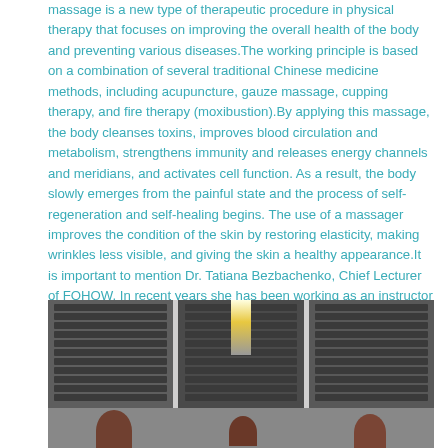massage is a new type of therapeutic procedure in physical therapy that focuses on improving the overall health of the body and preventing various diseases.The working principle is based on a combination of several traditional Chinese medicine methods, including acupuncture, gauze massage, cupping therapy, and fire therapy (moxibustion).By applying this massage, the body cleanses toxins, improves blood circulation and metabolism, strengthens immunity and releases energy channels and meridians, and activates cell function. As a result, the body slowly emerges from the painful state and the process of self-regeneration and self-healing begins. The use of a massager improves the condition of the skin by restoring elasticity, making wrinkles less visible, and giving the skin a healthy appearance.It is important to mention Dr. Tatiana Bezbachenko, Chief Lecturer of FOHOW. In recent years she has been working as an instructor and lecturer for the FOHOW company for Asia and Eastern Europe. So far, Master Physical has organized 3 trainings for the training of therapists to work on the Fohow bioenergy massager.
[Figure (photo): A photograph showing a room with windows with blinds, and people visible at the bottom of the frame. A bright light source is visible at the top center between the windows.]